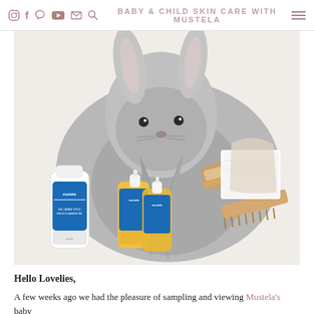BABY & CHILD SKIN CARE WITH MUSTELA
[Figure (photo): Flat lay photo of Mustela baby products (gentle cleansing gel, baby oil bottles), a grey bunny-hooded baby towel/robe, a wooden brush and comb set, and white washcloths arranged on a white surface.]
Hello Lovelies,
A few weeks ago we had the pleasure of sampling and viewing Mustela's baby